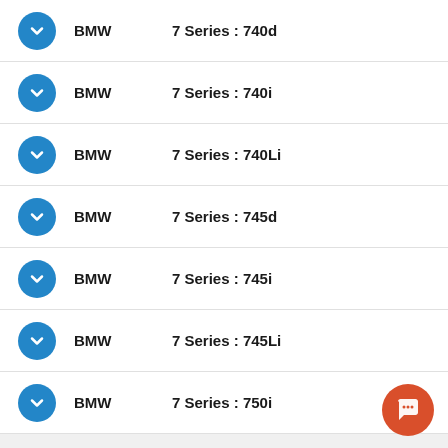BMW  7 Series : 740d
BMW  7 Series : 740i
BMW  7 Series : 740Li
BMW  7 Series : 745d
BMW  7 Series : 745i
BMW  7 Series : 745Li
BMW  7 Series : 750i